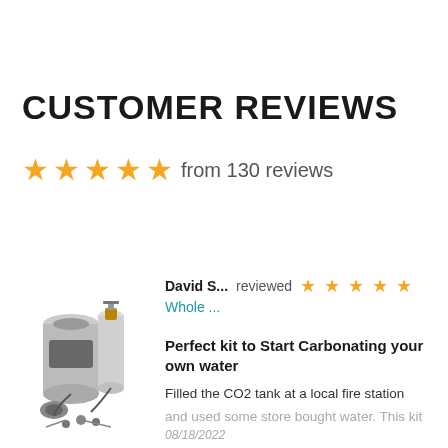CUSTOMER REVIEWS
★★★★★ from 130 reviews
David S... reviewed ★★★★★ Whole ...
Perfect kit to Start Carbonating your own water
Filled the CO2 tank at a local fire station and used some store bought water. This kit
08/18/2022